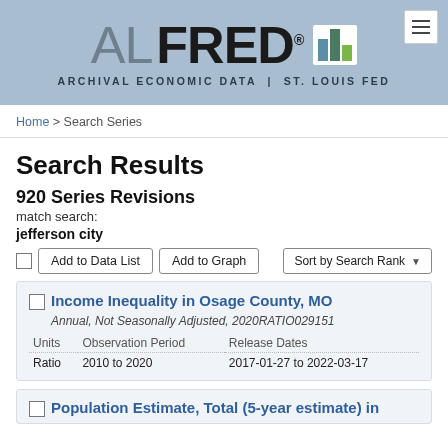[Figure (logo): ALFRED - Archival Economic Data | St. Louis Fed logo with bar chart icon]
Home > Search Series
Search Results
920 Series Revisions
match search:
jefferson city
Add to Data List  Add to Graph  Sort by Search Rank
| Units | Observation Period | Release Dates |
| --- | --- | --- |
| Ratio | 2010 to 2020 | 2017-01-27 to 2022-03-17 |
Income Inequality in Osage County, MO
Annual, Not Seasonally Adjusted, 2020RATIO029151
Population Estimate, Total (5-year estimate) in